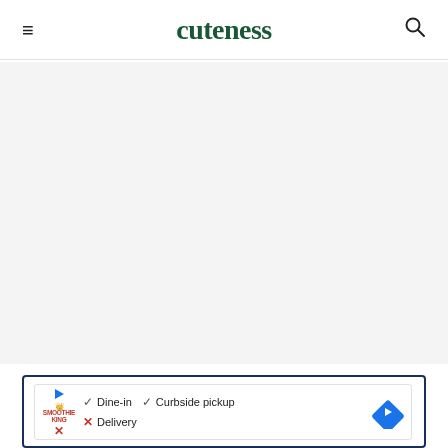cuteness
[Figure (other): Gray advertisement placeholder area]
[Figure (screenshot): Google Maps snippet showing Smoothie King: Dine-in ✓, Curbside pickup ✓, Delivery ✗]